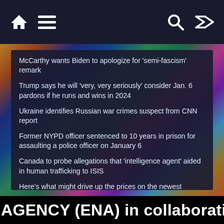Navigation bar with home, menu, search, and shuffle icons
McCarthy wants Biden to apologize for 'semi-fascism' remark
Trump says he will 'very, very seriously' consider Jan. 6 pardons if he runs and wins in 2024
Ukraine identifies Russian war crimes suspect from CNN report
Former NYPD officer sentenced to 10 years in prison for assaulting a police officer on January 6
Canada to probe allegations that 'intelligence agent' aided in human trafficking to ISIS
Here's what might drive up the prices on the newest iPhones
Reports of sexual assault in the US military increased by 13%
AGENCY (ENA) in collaboration